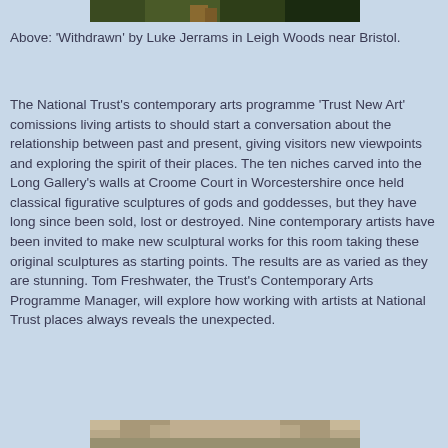[Figure (photo): Top portion of a photograph showing 'Withdrawn' by Luke Jerrams in Leigh Woods near Bristol — woodland scene, partially cropped at top.]
Above: 'Withdrawn' by Luke Jerrams in Leigh Woods near Bristol.
The National Trust's contemporary arts programme 'Trust New Art' comissions living artists to should start a conversation about the relationship between past and present, giving visitors new viewpoints and exploring the spirit of their places. The ten niches carved into the Long Gallery's walls at Croome Court in Worcestershire once held classical figurative sculptures of gods and goddesses, but they have long since been sold, lost or destroyed. Nine contemporary artists have been invited to make new sculptural works for this room taking these original sculptures as starting points. The results are as varied as they are stunning. Tom Freshwater, the Trust's Contemporary Arts Programme Manager, will explore how working with artists at National Trust places always reveals the unexpected.
[Figure (photo): Bottom portion of a photograph showing an interior architectural detail, partially cropped — appears to be a ceiling or vaulted interior space.]